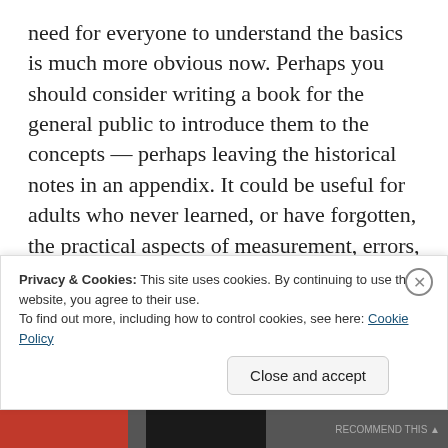need for everyone to understand the basics is much more obvious now. Perhaps you should consider writing a book for the general public to introduce them to the concepts — perhaps leaving the historical notes in an appendix. It could be useful for adults who never learned, or have forgotten, the practical aspects of measurement, errors, etc. AND for students in high school (or middle school) to make sense out of life and ease their entry into scientific
Privacy & Cookies: This site uses cookies. By continuing to use this website, you agree to their use.
To find out more, including how to control cookies, see here: Cookie Policy
Close and accept